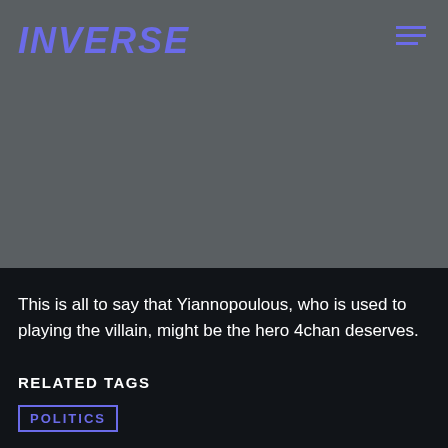INVERSE
[Figure (other): Dark gray background image area placeholder]
This is all to say that Yiannopoulous, who is used to playing the villain, might be the hero 4chan deserves.
RELATED TAGS
POLITICS